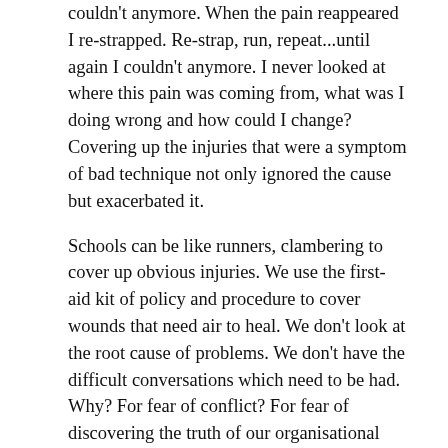couldn't anymore. When the pain reappeared I re-strapped. Re-strap, run, repeat...until again I couldn't anymore. I never looked at where this pain was coming from, what was I doing wrong and how could I change? Covering up the injuries that were a symptom of bad technique not only ignored the cause but exacerbated it.
Schools can be like runners, clambering to cover up obvious injuries. We use the first-aid kit of policy and procedure to cover wounds that need air to heal. We don't look at the root cause of problems. We don't have the difficult conversations which need to be had. Why? For fear of conflict? For fear of discovering the truth of our organisational cultures? Nowhere is this more notable than dealing with bullying and incivility in our workplace.
Teaching is a person-centric profession and with people some relationship. The word relationship often brings